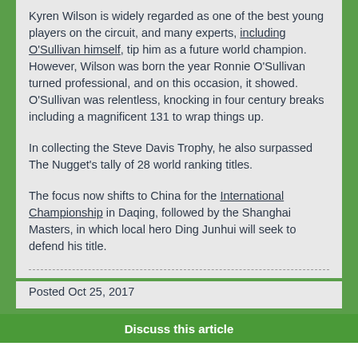Kyren Wilson is widely regarded as one of the best young players on the circuit, and many experts, including O'Sullivan himself, tip him as a future world champion. However, Wilson was born the year Ronnie O'Sullivan turned professional, and on this occasion, it showed. O'Sullivan was relentless, knocking in four century breaks including a magnificent 131 to wrap things up.

In collecting the Steve Davis Trophy, he also surpassed The Nugget's tally of 28 world ranking titles.

The focus now shifts to China for the International Championship in Daqing, followed by the Shanghai Masters, in which local hero Ding Junhui will seek to defend his title.
Posted Oct 25, 2017
Discuss this article
comments powered by Disqus
Bookmark with...
Facebook | Twitter | Google Plus | Digg | StumbleUpon